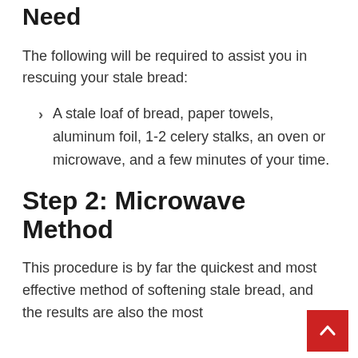Need
The following will be required to assist you in rescuing your stale bread:
A stale loaf of bread, paper towels, aluminum foil, 1-2 celery stalks, an oven or microwave, and a few minutes of your time.
Step 2: Microwave Method
This procedure is by far the quickest and most effective method of softening stale bread, and the results are also the most